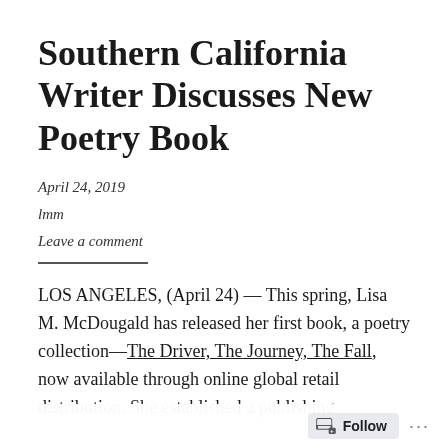Southern California Writer Discusses New Poetry Book
April 24, 2019
lmm
Leave a comment
LOS ANGELES, (April 24) — This spring, Lisa M. McDougald has released her first book, a poetry collection—The Driver, The Journey, The Fall, now available through online global retail distribution. She established a publishing